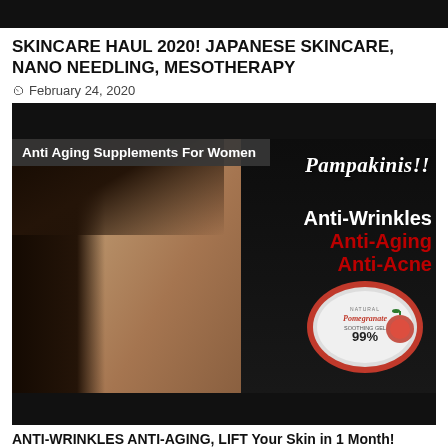SKINCARE HAUL 2020! JAPANESE SKINCARE, NANO NEEDLING, MESOTHERAPY
February 24, 2020
[Figure (photo): A young Asian woman holding a red pomegranate soothing gel product (99%) with text overlay: 'Pampakinis!! Anti-Wrinkles Anti-Aging Anti-Acne'. A gray label bar reads 'Anti Aging Supplements For Women'.]
ANTI-WRINKLES ANTI-AGING, LIFT Your Skin in 1 Month!